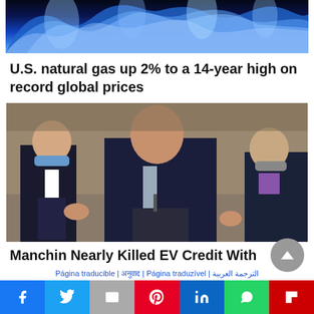[Figure (photo): Blue flames background image]
U.S. natural gas up 2% to a 14-year high on record global prices
[Figure (photo): Senator Joe Manchin speaking at a podium, flanked by colleagues wearing face masks]
Manchin Nearly Killed EV Credit With
Página traducible | अनुवाद | Página traduzível | الترجمة العربية
Facebook | Twitter | Email | Pinterest | LinkedIn | WhatsApp | Flipboard